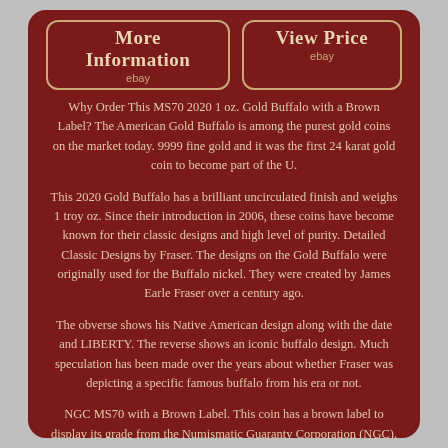[Figure (other): Two eBay buttons side by side: 'More Information ebay' and 'View Price ebay', styled with dark red background and tan border]
Why Order This MS70 2020 1 oz. Gold Buffalo with a Brown Label? The American Gold Buffalo is among the purest gold coins on the market today. 9999 fine gold and it was the first 24 karat gold coin to become part of the U.
This 2020 Gold Buffalo has a brilliant uncirculated finish and weighs 1 troy oz. Since their introduction in 2006, these coins have become known for their classic designs and high level of purity. Detailed Classic Designs by Fraser. The designs on the Gold Buffalo were originally used for the Buffalo nickel. They were created by James Earle Fraser over a century ago.
The obverse shows his Native American design along with the date and LIBERTY. The reverse shows an iconic buffalo design. Much speculation has been made over the years about whether Fraser was depicting a specific famous buffalo from his era or not.
NGC MS70 with a Brown Label. This coin has a brown label to display its grade from the Numismatic Guaranty Corporation (NGC). The experts there examined this specimen very carefully, even with magnification, but no imperfections could be found. That's why it was awarded a perfect Mint State 70 grade. This NGC MS70 2020 1 oz.